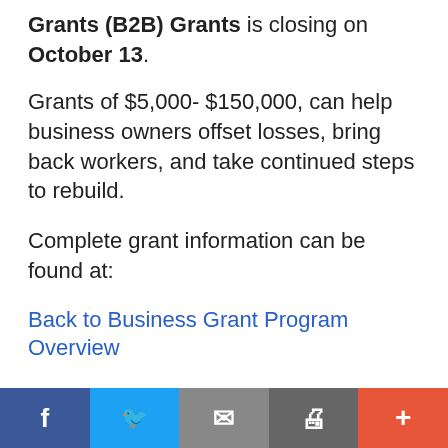Grants (B2B) Grants is closing on October 13.
Grants of $5,000- $150,000, can help business owners offset losses, bring back workers, and take continued steps to rebuild.
Complete grant information can be found at:
Back to Business Grant Program Overview
Eligibility criteria and priority categories
Frequently asked questions
On Wednesday, October 6, Representative Joyce Mason be hosting her final Back to Business...